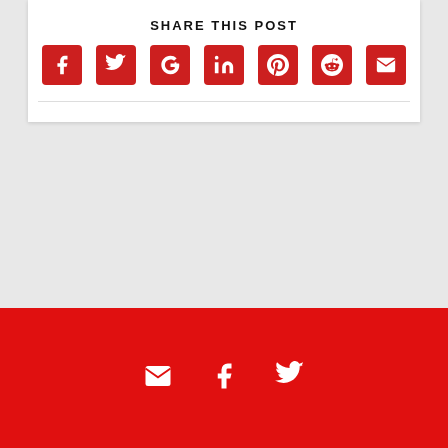SHARE THIS POST
[Figure (infographic): Social sharing icons in red squares: Facebook, Twitter, Google+, LinkedIn, Pinterest, Reddit, Email]
ALAN DAVIDSON
CONNECTED NATION
NATIONAL TELECOMMUNICATIONS AND INFORMATION ADMINISTRATION
NTIA
SECRETARY OF COMMERCE
SENATE
Footer with email, Facebook, Twitter icons on red background